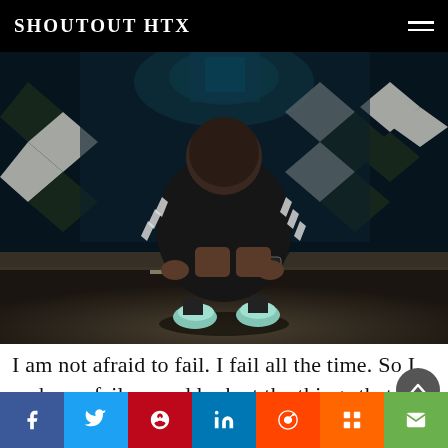SHOUTOUT HTX
[Figure (photo): A person in a black Adidas tracksuit crouching on a sidewalk at night, face not visible, in front of a building with checkered diamond tile pattern, photographed in dark moody tones.]
I am not afraid to fail. I fail all the time. So I embrace failure and look at the things that I did wrong and correct them the next go around. I feel that making the acceptance of failure a